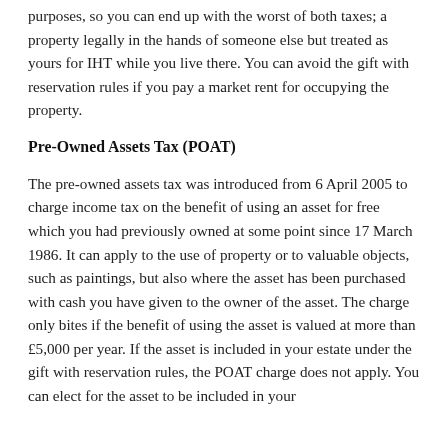purposes, so you can end up with the worst of both taxes; a property legally in the hands of someone else but treated as yours for IHT while you live there. You can avoid the gift with reservation rules if you pay a market rent for occupying the property.
Pre-Owned Assets Tax (POAT)
The pre-owned assets tax was introduced from 6 April 2005 to charge income tax on the benefit of using an asset for free which you had previously owned at some point since 17 March 1986. It can apply to the use of property or to valuable objects, such as paintings, but also where the asset has been purchased with cash you have given to the owner of the asset. The charge only bites if the benefit of using the asset is valued at more than £5,000 per year. If the asset is included in your estate under the gift with reservation rules, the POAT charge does not apply. You can elect for the asset to be included in your